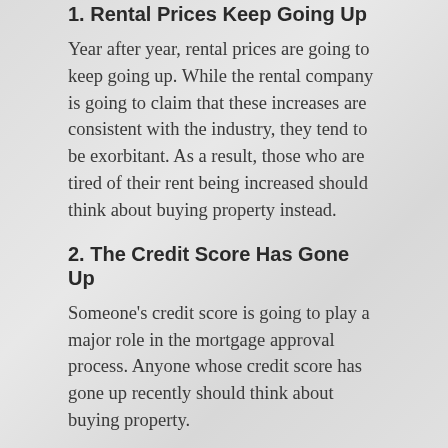1. Rental Prices Keep Going Up
Year after year, rental prices are going to keep going up. While the rental company is going to claim that these increases are consistent with the industry, they tend to be exorbitant. As a result, those who are tired of their rent being increased should think about buying property instead.
2. The Credit Score Has Gone Up
Someone's credit score is going to play a major role in the mortgage approval process. Anyone whose credit score has gone up recently should think about buying property.
3. Debt Management Is Second Nature